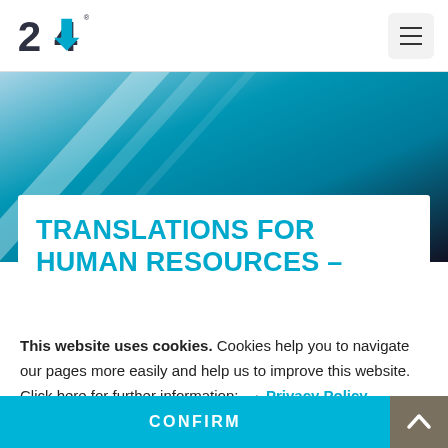[Figure (logo): 24translate company logo with blue arrow and dark '24' text]
[Figure (illustration): Hamburger menu icon button in light gray rounded square]
[Figure (photo): Blue and teal abstract background with diagonal light streaks, hero image]
TRANSLATIONS FOR HUMAN RESOURCES –
This website uses cookies. Cookies help you to navigate our pages more easily and help us to improve this website. Click here for further information: → Privacy Policy
CONFIRM